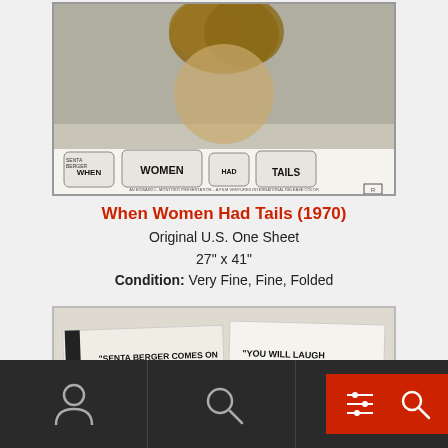[Figure (photo): Movie poster for 'When Women Had Tails (1970)' showing a woman with curly hair at top, and stone-age style title lettering at bottom. Credits mention Senta Berger and an Edward L. Montoro Presentation.]
When Women Had Tails (1970)
Original U.S. One Sheet
27" x 41"
Condition: Very Fine, Fine, Folded
[Figure (photo): Close-up detail of movie poster showing press quotes: 'SENTA BERGER COMES ON STRONG IN WHEN WOMEN HAD TAILS!' - PLAYBOY and 'YOU WILL LAUGH YOUR TAIL OFF!' - DAILY NEWS]
[Figure (screenshot): Bottom navigation bar with dark background showing user icon, search icon, and red button with icons on the right side]